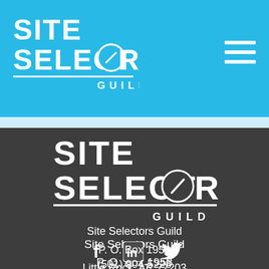[Figure (logo): Site Selectors Guild logo in white on blue header bar, with hamburger menu icon top right]
[Figure (logo): Site Selectors Guild logo centered in white on dark gray background]
Site Selectors Guild
P. O. Box 1958
Little Rock, AR 72203
(501) 904-5228
[Figure (other): Facebook, LinkedIn, and Twitter social media icons in white]